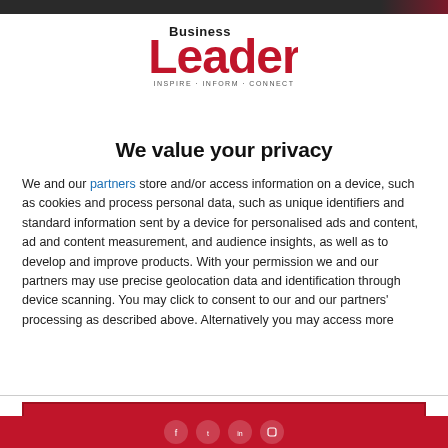[Figure (logo): Business Leader magazine logo with red and black text, tagline INSPIRE · INFORM · CONNECT]
We value your privacy
We and our partners store and/or access information on a device, such as cookies and process personal data, such as unique identifiers and standard information sent by a device for personalised ads and content, ad and content measurement, and audience insights, as well as to develop and improve products. With your permission we and our partners may use precise geolocation data and identification through device scanning. You may click to consent to our and our partners' processing as described above. Alternatively you may access more